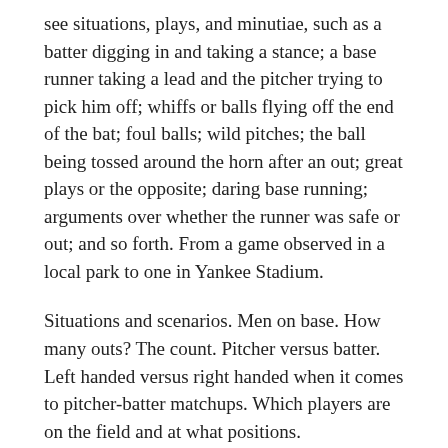see situations, plays, and minutiae, such as a batter digging in and taking a stance; a base runner taking a lead and the pitcher trying to pick him off; whiffs or balls flying off the end of the bat; foul balls; wild pitches; the ball being tossed around the horn after an out; great plays or the opposite; daring base running; arguments over whether the runner was safe or out; and so forth. From a game observed in a local park to one in Yankee Stadium.
Situations and scenarios. Men on base. How many outs? The count. Pitcher versus batter. Left handed versus right handed when it comes to pitcher-batter matchups. Which players are on the field and at what positions.
The way ball games can be charted with such precision, as noted by historian and fan Doris Kearns Goodwin, whose father taught her at age six how to keep score so she could tell him about the day's Brooklyn Dodger game, as announced on the radio by Red Barber (most games were